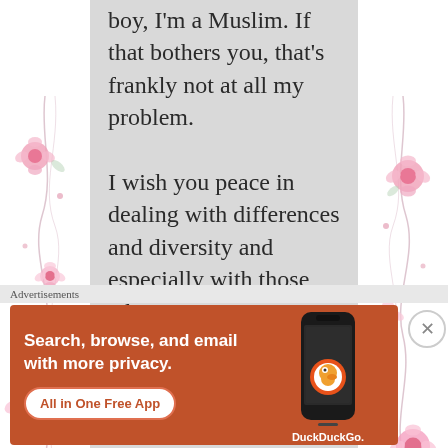[Figure (illustration): Decorative floral pattern on left margin — pink flowers and curling vines on white background]
[Figure (illustration): Decorative floral pattern on right margin — pink flowers and curling vines on white background]
boy, I'm a Muslim. If that bothers you, that's frankly not at all my problem.

I wish you peace in dealing with differences and diversity and especially with those who anger
Advertisements
[Figure (screenshot): DuckDuckGo advertisement banner with orange background. Text reads: 'Search, browse, and email with more privacy. All in One Free App'. Shows DuckDuckGo logo on a smartphone.]